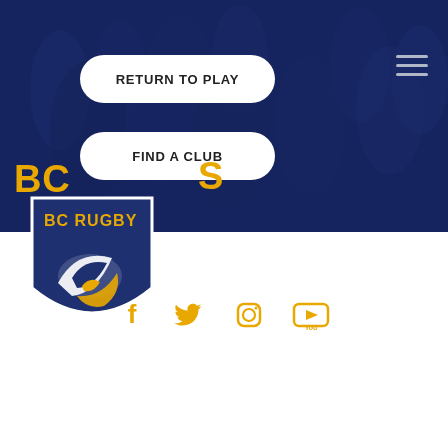[Figure (screenshot): BC Rugby website screenshot showing a dark navy hero image with crowd in background, two navigation buttons (RETURN TO PLAY, FIND A CLUB), hamburger menu icon, partially visible gold BC text, BC Rugby shield logo, and social media icons (Facebook, Twitter, Instagram, YouTube) in gold on white background below.]